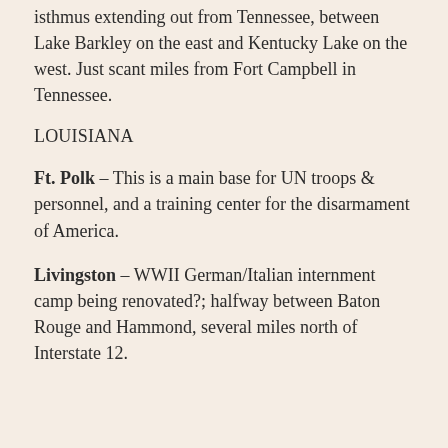isthmus extending out from Tennessee, between Lake Barkley on the east and Kentucky Lake on the west. Just scant miles from Fort Campbell in Tennessee.
LOUISIANA
Ft. Polk – This is a main base for UN troops & personnel, and a training center for the disarmament of America.
Livingston – WWII German/Italian internment camp being renovated?; halfway between Baton Rouge and Hammond, several miles north of Interstate 12.